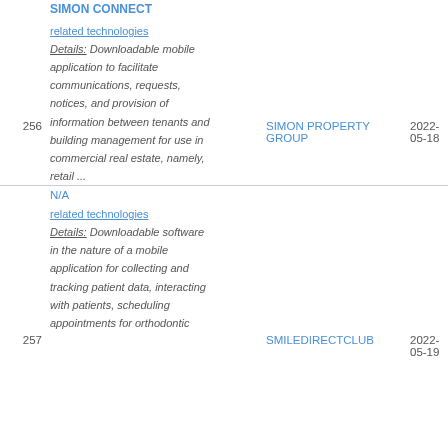SIMON CONNECT
related technologies
Details: Downloadable mobile application to facilitate communications, requests, notices, and provision of information between tenants and building management for use in commercial real estate, namely, retail ...
256
SIMON PROPERTY GROUP
2022-05-18
N/A
related technologies
Details: Downloadable software in the nature of a mobile application for collecting and tracking patient data, interacting with patients, scheduling appointments for orthodontic ...
257
SMILEDIRECTCLUB
2022-05-19